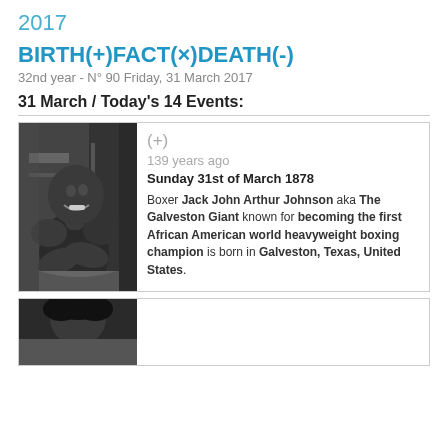2017
BIRTH(+)FACT(x)DEATH(-)
32nd year - N° 90 Friday, 31 March 2017
31 March / Today's 14 Events:
[Figure (photo): Black and white photograph of boxer Jack Johnson, shirtless, arms crossed, smiling]
(+) 139 years ago Sunday 31st of March 1878 Boxer Jack John Arthur Johnson aka The Galveston Giant known for becoming the first African American world heavyweight boxing champion is born in Galveston, Texas, United States.
[Figure (photo): Black and white photograph of a person with dark hair, partially visible at bottom of page]